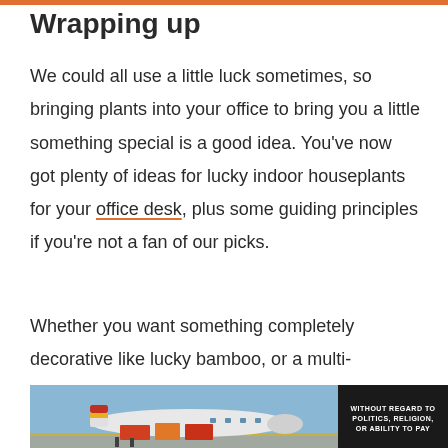Wrapping up
We could all use a little luck sometimes, so bringing plants into your office to bring you a little something special is a good idea. You’ve now got plenty of ideas for lucky indoor houseplants for your office desk, plus some guiding principles if you’re not a fan of our picks.
Whether you want something completely decorative like lucky bamboo, or a multi-
[Figure (photo): Advertisement banner showing an airplane being loaded with cargo, with a dark overlay on the right reading WITHOUT REGARD TO POLITICS, RELIGION, OR ABILITY TO PAY]